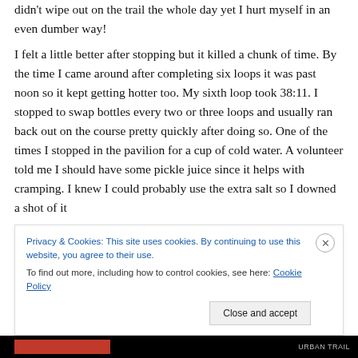didn't wipe out on the trail the whole day yet I hurt myself in an even dumber way!
I felt a little better after stopping but it killed a chunk of time. By the time I came around after completing six loops it was past noon so it kept getting hotter too. My sixth loop took 38:11. I stopped to swap bottles every two or three loops and usually ran back out on the course pretty quickly after doing so. One of the times I stopped in the pavilion for a cup of cold water. A volunteer told me I should have some pickle juice since it helps with cramping. I knew I could probably use the extra salt so I downed a shot of it
Privacy & Cookies: This site uses cookies. By continuing to use this website, you agree to their use.
To find out more, including how to control cookies, see here: Cookie Policy